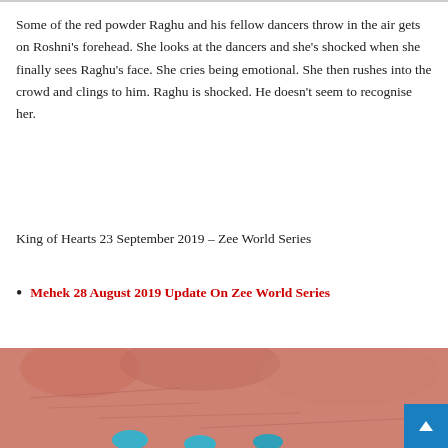Some of the red powder Raghu and his fellow dancers throw in the air gets on Roshni's forehead. She looks at the dancers and she's shocked when she finally sees Raghu's face. She cries being emotional. She then rushes into the crowd and clings to him. Raghu is shocked. He doesn't seem to recognise her.
King of Hearts 23 September 2019 – Zee World Series
Mehek 28 August 2019 Update On Zee World Series
[Figure (photo): Close-up photo of a person's hands with blue painted fingernails, skin showing reddish/pink tones]